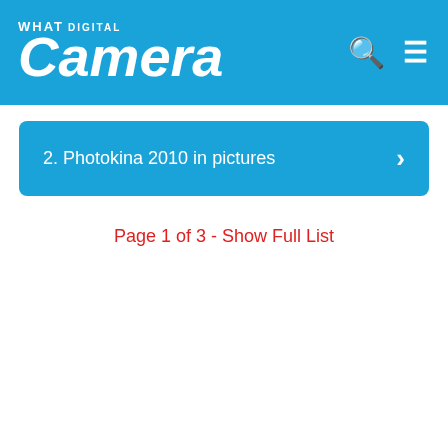What Digital Camera
2. Photokina 2010 in pictures
Page 1 of 3 - Show Full List